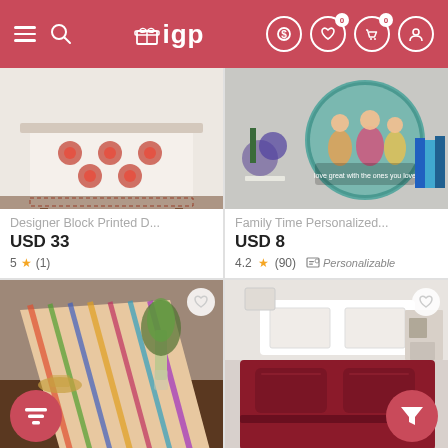IGP app header with logo, search, hamburger menu, and cart/wishlist icons
[Figure (photo): Designer Block Printed Duvet/Bedsheet product image - white fabric with red floral block print pattern on a bed]
[Figure (photo): Family Time Personalized product image - circular personalized photo frame/clock with family photo on wall]
Designer Block Printed D...
USD 33
5 ★ (1)
Family Time Personalized...
USD 8
4.2 ★ (90)  Personalizable
[Figure (photo): Colorful woven throw blanket/lapghan draped over furniture - multicolor striped pattern in red, orange, blue, green]
[Figure (photo): Maroon/burgundy bedsheet set with two pillows on a white bed in a bedroom setting]